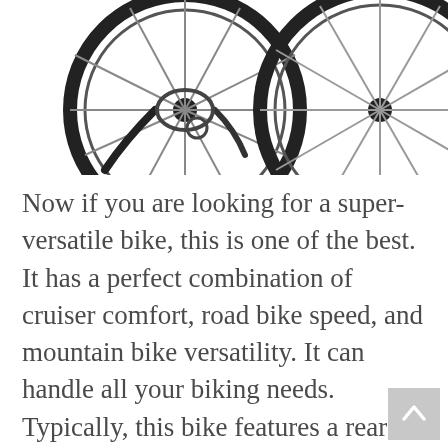[Figure (photo): Partial view of a bicycle showing two wheels with spokes against a white background. Only the lower portion of the bike frame and both wheels are visible, cropped at the top.]
Now if you are looking for a super-versatile bike, this is one of the best. It has a perfect combination of cruiser comfort, road bike speed, and mountain bike versatility. It can handle all your biking needs. Typically, this bike features a rear derailleur and 21-speed shifters for a precise and easy gear change.